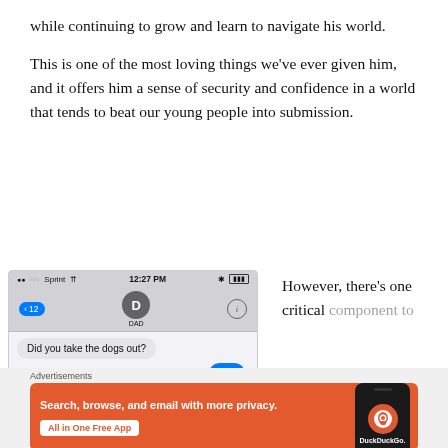while continuing to grow and learn to navigate his world.
This is one of the most loving things we've ever given him, and it offers him a sense of security and confidence in a world that tends to beat our young people into submission.
[Figure (screenshot): iPhone text message screenshot showing conversation with DAD. Status bar shows Sprint carrier, 12:27 PM, Bluetooth and battery icons. Navigation shows back button with '12', contact avatar 'D' labeled DAD, and info button. Message bubble reads: 'Did you take the dogs out?' with a partial blue reply bubble at bottom partially cut off reading 'Yes'.]
However, there's one critical component to
Advertisements
[Figure (screenshot): DuckDuckGo advertisement banner with orange background. Text reads 'Search, browse, and email with more privacy.' with button 'All in One Free App'. Shows phone image with DuckDuckGo logo and brand name.]